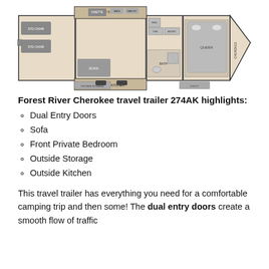[Figure (engineering-diagram): Floor plan schematic of a Forest River Cherokee travel trailer 274AK, showing top-down layout with bedroom at front right, bunk beds on left, sofa, dinette, kitchen, bathroom, and outside storage/kitchen areas labeled.]
Forest River Cherokee travel trailer 274AK highlights:
Dual Entry Doors
Sofa
Front Private Bedroom
Outside Storage
Outside Kitchen
This travel trailer has everything you need for a comfortable camping trip and then some! The dual entry doors create a smooth flow of traffic